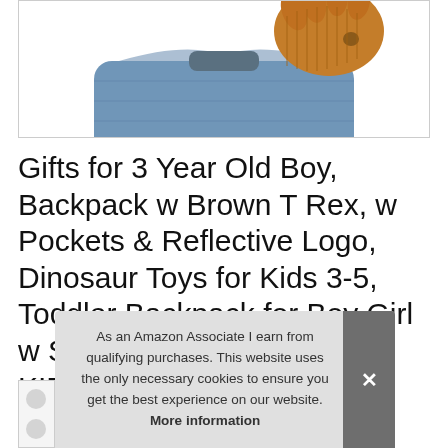[Figure (photo): Partial view of a blue denim dinosaur backpack with a brown/orange stuffed T-Rex dinosaur head visible at the top, on a white background.]
Gifts for 3 Year Old Boy, Backpack w Brown T Rex, w Pockets & Reflective Logo, Dinosaur Toys for Kids 3-5, Toddler Backpack for Boy Girl w Stuffed Animal, Naturally KIDS Small Dinosaur Backpack
#ad
As an Amazon Associate I earn from qualifying purchases. This website uses the only necessary cookies to ensure you get the best experience on our website. More information